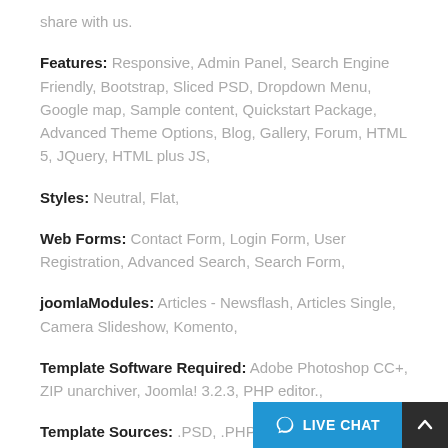share with us.
Features: Responsive, Admin Panel, Search Engine Friendly, Bootstrap, Sliced PSD, Dropdown Menu, Google map, Sample content, Quickstart Package, Advanced Theme Options, Blog, Gallery, Forum, HTML 5, JQuery, HTML plus JS,
Styles: Neutral, Flat,
Web Forms: Contact Form, Login Form, User Registration, Advanced Search, Search Form,
joomlaModules: Articles - Newsflash, Articles Single, Camera Slideshow, Komento,
Template Software Required: Adobe Photoshop CC+, ZIP unarchiver, Joomla! 3.2.3, PHP editor.,
Template Sources: .PSD, .PHP,